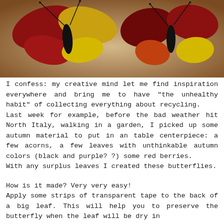[Figure (photo): Two decorative butterflies made from autumn leaves (red, yellow, orange) with black wire bodies and antennae, photographed against a beige/cream background.]
I confess: my creative mind let me find inspiration everywhere and bring me to have "the unhealthy habit" of collecting everything about recycling.
Last week for example, before the bad weather hit North Italy, walking in a garden, I picked up some autumn material to put in an table centerpiece: a few acorns, a few leaves with unthinkable autumn colors (black and purple? ?) some red berries.
With any surplus leaves I created these butterflies.
How is it made? Very very easy!
Apply some strips of transparent tape to the back of a big leaf. This will help you to preserve the butterfly when the leaf will be dry in
will help you to preserve the butterfly when the leaf will be dry in